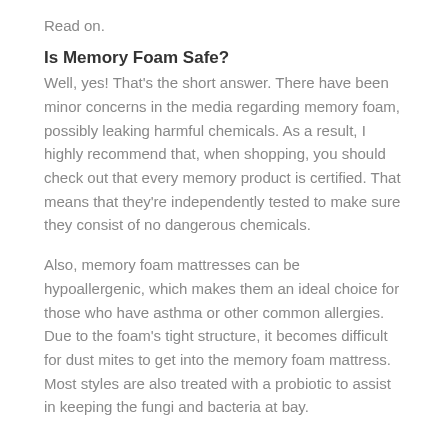Read on.
Is Memory Foam Safe?
Well, yes! That's the short answer. There have been minor concerns in the media regarding memory foam, possibly leaking harmful chemicals. As a result, I highly recommend that, when shopping, you should check out that every memory product is certified. That means that they're independently tested to make sure they consist of no dangerous chemicals.
Also, memory foam mattresses can be hypoallergenic, which makes them an ideal choice for those who have asthma or other common allergies. Due to the foam's tight structure, it becomes difficult for dust mites to get into the memory foam mattress. Most styles are also treated with a probiotic to assist in keeping the fungi and bacteria at bay.